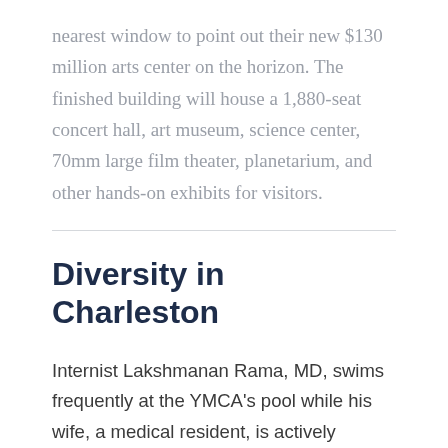nearest window to point out their new $130 million arts center on the horizon. The finished building will house a 1,880-seat concert hall, art museum, science center, 70mm large film theater, planetarium, and other hands-on exhibits for visitors.
Diversity in Charleston
Internist Lakshmanan Rama, MD, swims frequently at the YMCA's pool while his wife, a medical resident, is actively involved in the India Association of Greater Charleston. Thanks to the business community's draw for Japanese-based companies like Toyota and